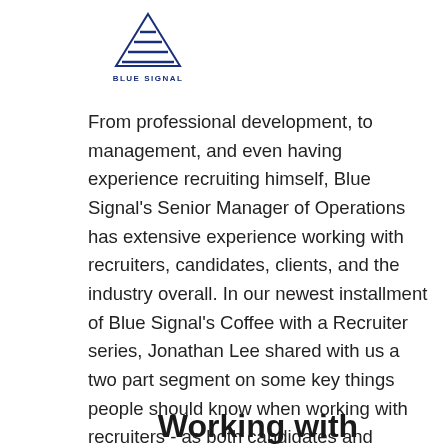[Figure (logo): Blue Signal company logo — blue horizontal lines forming a triangle/signal shape above text reading BLUE SIGNAL]
From professional development, to management, and even having experience recruiting himself, Blue Signal's Senior Manager of Operations has extensive experience working with recruiters, candidates, clients, and the industry overall. In our newest installment of Blue Signal's Coffee with a Recruiter series, Jonathan Lee shared with us a two part segment on some key things people should know when working with recruiters - as both candidates and clients. Watch and read on to gather the intel you need to make the most of your recruiting experience.
Working with